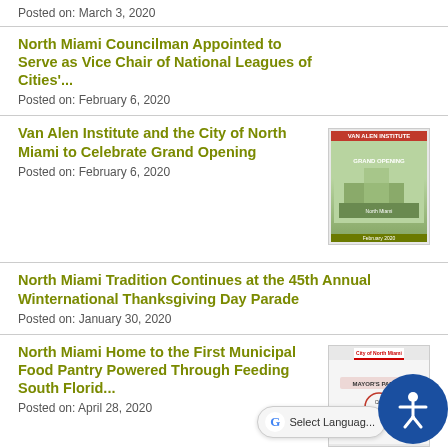Posted on: March 3, 2020
North Miami Councilman Appointed to Serve as Vice Chair of National Leagues of Cities'...
Posted on: February 6, 2020
Van Alen Institute and the City of North Miami to Celebrate Grand Opening
[Figure (photo): Thumbnail image related to Van Alen Institute Grand Opening event flyer]
Posted on: February 6, 2020
North Miami Tradition Continues at the 45th Annual Winternational Thanksgiving Day Parade
Posted on: January 30, 2020
North Miami Home to the First Municipal Food Pantry Powered Through Feeding South Florida...
[Figure (photo): Thumbnail image related to North Miami Municipal Food Pantry document or flyer]
Posted on: April 28, 2020